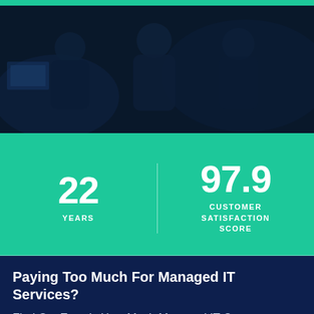[Figure (photo): Dark background photo showing people (IT professionals) in a dimly lit office/server room environment, with a teal/green bar at the top]
22 YEARS
97.9 CUSTOMER SATISFACTION SCORE
Paying Too Much For Managed IT Services?
Find Out Exactly How Much Managed IT Costs.
CLICK HERE
CLOSE